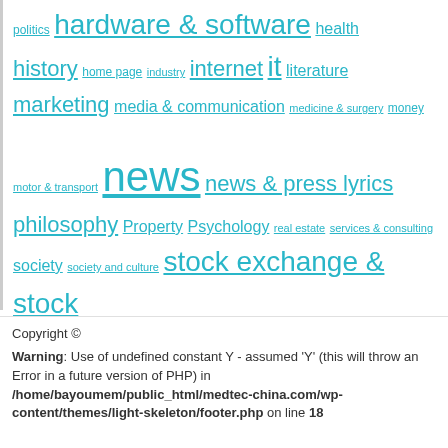politics hardware & software health history home page industry internet it literature marketing media & communication medicine & surgery money motor & transport news news & press lyrics philosophy Property Psychology real estate services & consulting society society and culture stock exchange & stock markets technology the news the present time today trade travel vacation & tourism
Copyright ©
Warning: Use of undefined constant Y - assumed 'Y' (this will throw an Error in a future version of PHP) in /home/bayoumem/public_html/medtec-china.com/wp-content/themes/light-skeleton/footer.php on line 18